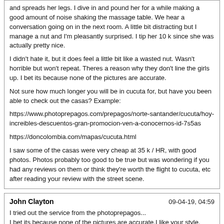and spreads her legs. I dive in and pound her for a while making a good amount of noise shaking the massage table. We hear a conversation going on in the next room. A little bit distracting but I manage a nut and I'm pleasantly surprised. I tip her 10 k since she was actually pretty nice.

I didn't hate it, but it does feel a little bit like a wasted nut. Wasn't horrible but won't repeat. Theres a reason why they don't line the girls up. I bet its because none of the pictures are accurate.

Not sure how much longer you will be in cucuta for, but have you been able to check out the casas? Example:

https://www.photoprepagos.com/prepagos/norte-santander/cucuta/hoy-increibles-descuentos-gran-promocion-ven-a-conocernos-id-7s5as

https://doncolombia.com/mapas/cucuta.html

I saw some of the casas were very cheap at 35 k / HR, with good photos. Photos probably too good to be true but was wondering if you had any reviews on them or think they're worth the flight to cucuta, etc after reading your review with the street scene.
John Clayton
I tried out the service from the photoprepagos...
I bet its because none of the pictures are accurate.I like your style. Keep up the excellent work!
Bleble
What's the point of going to this place? Why not stay or visit Bogota?

i didn't hate it, but it does feel a little bit like a wasted nut. Wasn't horrible but won't repeat. Theres a reason why they don't line the girls up. I bet its because